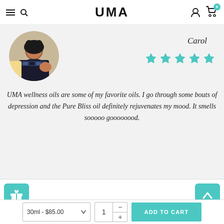UMA
[Figure (photo): Circular profile photo of Carol, a woman sitting at a table]
Carol
[Figure (other): 5 teal/turquoise star rating icons]
UMA wellness oils are some of my favorite oils. I go through some bouts of depression and the Pure Bliss oil definitely rejuvenates my mood. It smells sooooo goooooood.
[Figure (other): Gift icon button (teal square)]
[Figure (other): Up arrow button (teal square)]
30ml - $85.00
1
ADD TO CART